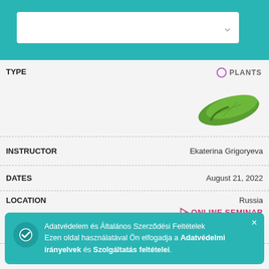[Figure (screenshot): Teal top navigation bar with white dropdown/search box and chevron arrow]
TYPE
[Figure (logo): Plants badge with a purple circle icon and green leaf/plant illustration, label PLANTS]
INSTRUCTOR   Ekaterina Grigoryeva
DATES   August 21, 2022
LOCATION   Russia
⊁ONLINE SEMINAR
Tudj meg többet
TYPE
[Figure (logo): ThetaHealing Intro badge with colorful circular logo and text THETAHEALING® INTRO]
INSTRUCTOR   ...ams
DATES   ...022
LOCATION   United States of America
Adatvédelem és Általános Szerződési Feltételek
Ezen oldal használatával Ön elfogadja a Adatvédelmi irányelvek és Szolgáltatás feltételei.